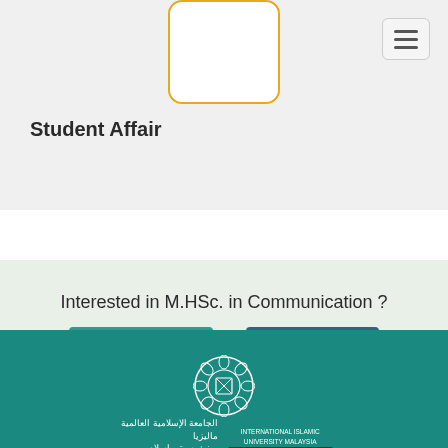Student Affair
Interested in M.HSc. in Communication ?
APPLY ONLINE or CONTACT US
[Figure (logo): International Islamic University Malaysia logo with Arabic text and tagline 'Garden of Knowledge and Virtue']